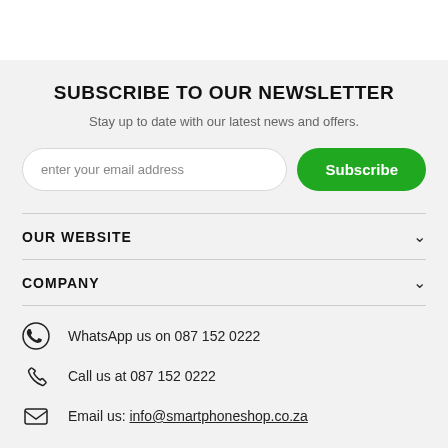SUBSCRIBE TO OUR NEWSLETTER
Stay up to date with our latest news and offers.
OUR WEBSITE
COMPANY
WhatsApp us on 087 152 0222
Call us at 087 152 0222
Email us: info@smartphoneshop.co.za